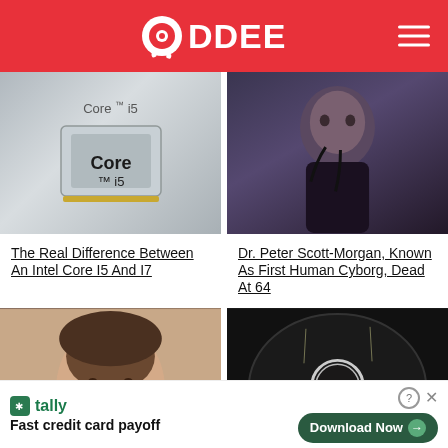ODDEE
[Figure (photo): Close-up photo of an Intel Core i5 processor chip]
[Figure (photo): Photo of Dr. Peter Scott-Morgan, man with wires attached to face/neck]
The Real Difference Between An Intel Core I5 And I7
Dr. Peter Scott-Morgan, Known As First Human Cyborg, Dead At 64
[Figure (photo): Close-up photo of a man's face (Ashton Kutcher)]
[Figure (photo): Dark tunnel/road with speed limit sign showing 70]
[Figure (other): Tally advertisement banner: Fast credit card payoff, Download Now button]